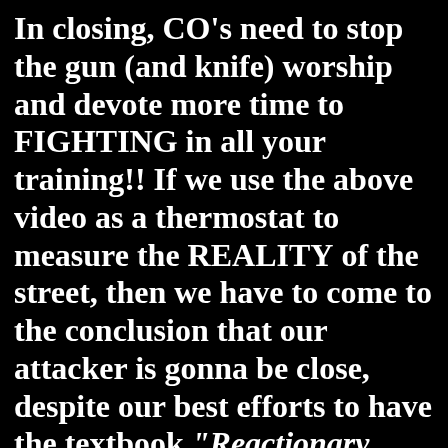In closing, CO's need to stop the gun (and knife) worship and devote more time to FIGHTING in all your training!! If we use the above video as a thermostat to measure the REALITY of the street, then we have to come to the conclusion that our attacker is gonna be close, despite our best efforts to have the textbook "Reactionary Gap". We need to develop a tool box of empty hand strikes (or knife strikes) in order to